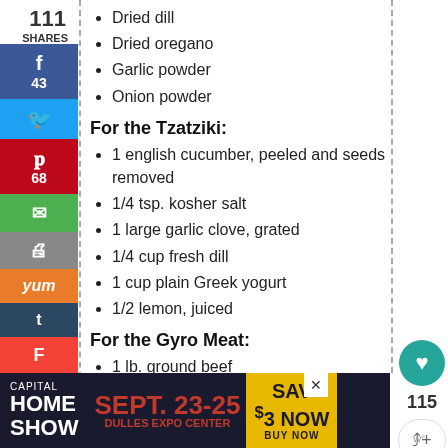Dried dill
Dried oregano
Garlic powder
Onion powder
For the Tzatziki:
1 english cucumber, peeled and seeds removed
1/4 tsp. kosher salt
1 large garlic clove, grated
1/4 cup fresh dill
1 cup plain Greek yogurt
1/2 lemon, juiced
For the Gyro Meat:
1 lb. ground beef
3 large garlic cloves, grated
1/2 white onion, grated
1/4 tsp. kosher salt
1/4 tsp. black pepper
1 Tbsp. olive oil